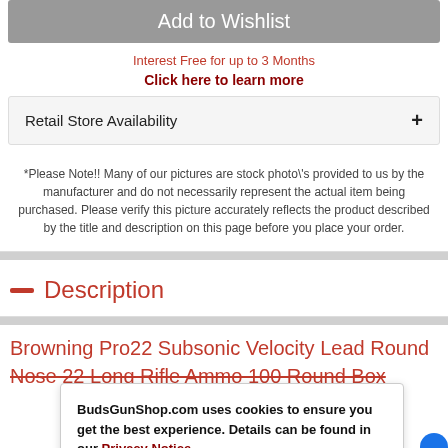Add to Wishlist
Interest Free for up to 3 Months
Click here to learn more
Retail Store Availability
*Please Note!! Many of our pictures are stock photo\'s provided to us by the manufacturer and do not necessarily represent the actual item being purchased. Please verify this picture accurately reflects the product described by the title and description on this page before you place your order.
Description
Browning Pro22 Subsonic Velocity Lead Round Nose 22 Long Rifle Ammo 100 Round Box
BudsGunShop.com uses cookies to ensure you get the best experience. Details can be found in our Privacy Notice.
Got It!